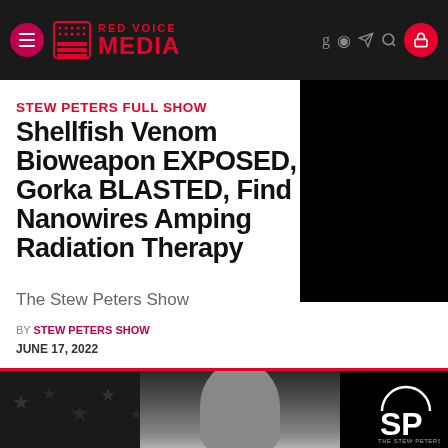RED VOICE MEDIA
STEW PETERS FULL SHOW
Shellfish Venom Bioweapon EXPOSED, Gorka BLASTED, Find Nanowires Amping Radiation Therapy
The Stew Peters Show
BY STEW PETERS SHOW
JUNE 17, 2022
[Figure (photo): Dark image of a person with SP (Stew Peters Show) logo visible in bottom right corner, red and black color scheme]